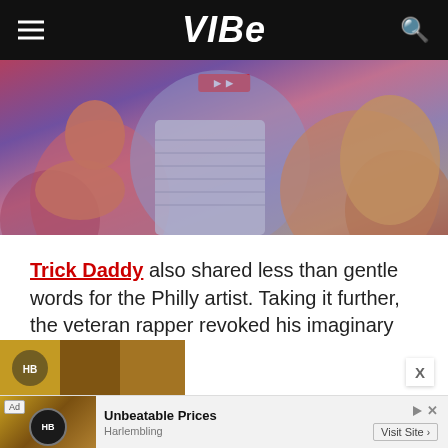VIBE
[Figure (photo): Crowd scene photo with people at an event, with a red video play button overlay at the top]
Trick Daddy also shared less than gentle words for the Philly artist. Taking it further, the veteran rapper revoked his imaginary Miami visa.
[Figure (photo): Partial bottom thumbnail image preview]
Ad — Unbeatable Prices, Harlembling, Visit Site